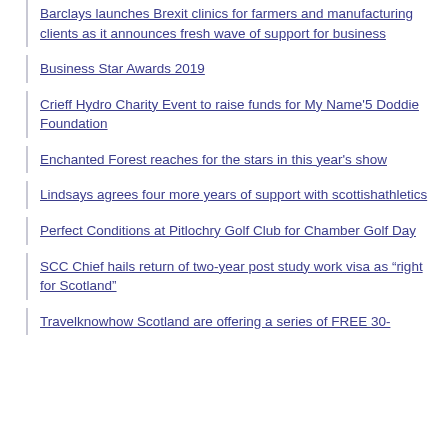Barclays launches Brexit clinics for farmers and manufacturing clients as it announces fresh wave of support for business
Business Star Awards 2019
Crieff Hydro Charity Event to raise funds for My Name'5 Doddie Foundation
Enchanted Forest reaches for the stars in this year's show
Lindsays agrees four more years of support with scottishathletics
Perfect Conditions at Pitlochry Golf Club for Chamber Golf Day
SCC Chief hails return of two-year post study work visa as “right for Scotland”
Travelknowhow Scotland are offering a series of FREE 30-